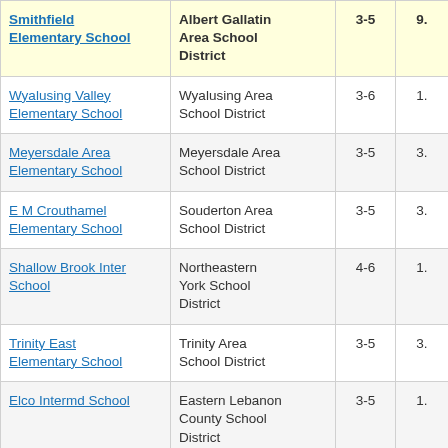| School | District | Grades |  |
| --- | --- | --- | --- |
| Smithfield Elementary School | Albert Gallatin Area School District | 3-5 | 9. |
| Wyalusing Valley Elementary School | Wyalusing Area School District | 3-6 | 1. |
| Meyersdale Area Elementary School | Meyersdale Area School District | 3-5 | 3. |
| E M Crouthamel Elementary School | Souderton Area School District | 3-5 | 3. |
| Shallow Brook Inter School | Northeastern York School District | 4-6 | 1. |
| Trinity East Elementary School | Trinity Area School District | 3-5 | 3. |
| Elco Intermd School | Eastern Lebanon County School District | 3-5 | 1. |
| Overlook School | Abington School District | 3-6 |  |